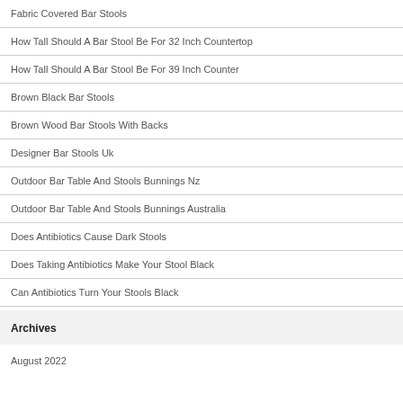Fabric Covered Bar Stools
How Tall Should A Bar Stool Be For 32 Inch Countertop
How Tall Should A Bar Stool Be For 39 Inch Counter
Brown Black Bar Stools
Brown Wood Bar Stools With Backs
Designer Bar Stools Uk
Outdoor Bar Table And Stools Bunnings Nz
Outdoor Bar Table And Stools Bunnings Australia
Does Antibiotics Cause Dark Stools
Does Taking Antibiotics Make Your Stool Black
Can Antibiotics Turn Your Stools Black
Archives
August 2022